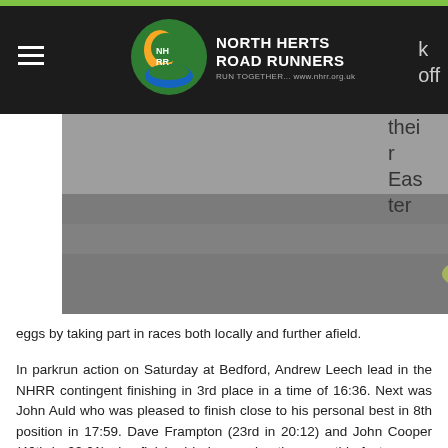[Figure (logo): North Herts Road Runners logo with circular emblem and text 'NORTH HERTS ROAD RUNNERS, RUN TOGETHER... www.nhrr.org.uk' on dark header bar]
[Figure (photo): Close-up photo of a runner's feet/shoes on a gravel or tarmac surface during a parkrun event]
their Easter eggs by taking part in races both locally and further afield.
In parkrun action on Saturday at Bedford, Andrew Leech lead in the NHRR contingent finishing in 3rd place in a time of 16:36. Next was John Auld who was pleased to finish close to his personal best in 8th position in 17:59. Dave Frampton (23rd in 20:12) and John Cooper (46th in 22:01) also finished in impressive times on this fast course. Also on good parkrun form despite were Darren Matussa who finished the St Albans parkrun in 13th position in 18:59 and Steve Lummis who was very pleased with his time of 22:47 (76th).